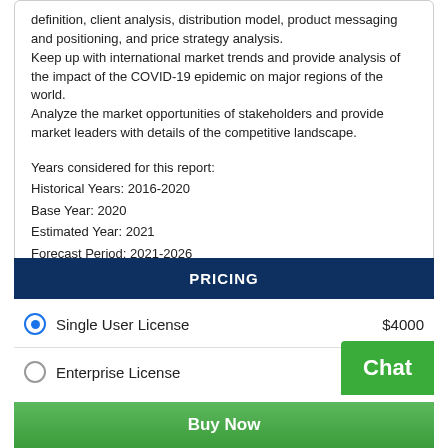definition, client analysis, distribution model, product messaging and positioning, and price strategy analysis.
Keep up with international market trends and provide analysis of the impact of the COVID-19 epidemic on major regions of the world.
Analyze the market opportunities of stakeholders and provide market leaders with details of the competitive landscape.
Years considered for this report:
Historical Years: 2016-2020
Base Year: 2020
Estimated Year: 2021
Forecast Period: 2021-2026
PRICING
Single User License    $4000
Enterprise License